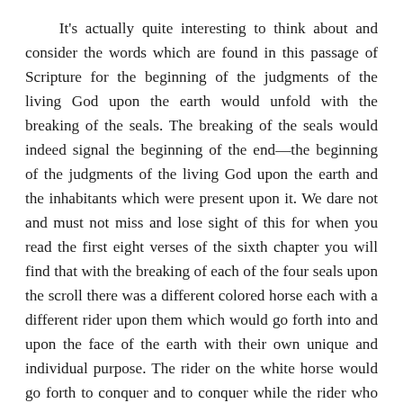It's actually quite interesting to think about and consider the words which are found in this passage of Scripture for the beginning of the judgments of the living God upon the earth would unfold with the breaking of the seals. The breaking of the seals would indeed signal the beginning of the end—the beginning of the judgments of the living God upon the earth and the inhabitants which were present upon it. We dare not and must not miss and lose sight of this for when you read the first eight verses of the sixth chapter you will find that with the breaking of each of the four seals upon the scroll there was a different colored horse each with a different rider upon them which would go forth into and upon the face of the earth with their own unique and individual purpose. The rider on the white horse would go forth to conquer and to conquer while the rider who rode upon the red horse was given power to take peace from the earth and that men